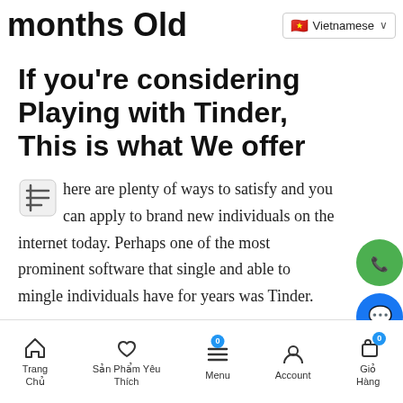months Old — Vietnamese
If you're considering Playing with Tinder, This is what We offer
here are plenty of ways to satisfy and you can apply to brand new individuals on the internet today. Perhaps one of the most prominent software that single and able to mingle individuals have for years was Tinder.
Trang Chủ | Sản Phẩm Yêu Thích | 0 | Menu | Account | Giỏ Hàng | 0